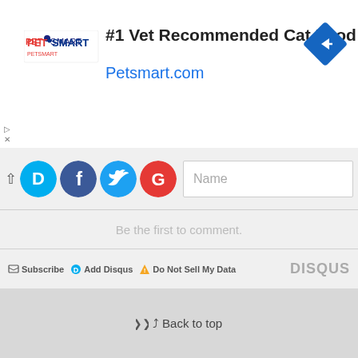[Figure (infographic): PetSmart advertisement banner with logo, text '#1 Vet Recommended Cat Food Petsmart.com' and a blue diamond arrow icon]
[Figure (infographic): Disqus social login bar with chevron up icon, D (blue), Facebook (blue), Twitter (blue), Google (red) social icons and a Name input field]
Be the first to comment.
Subscribe  Add Disqus  Do Not Sell My Data   DISQUS
Back to top